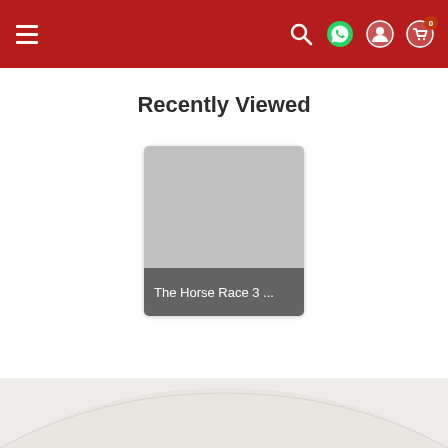Navigation header with hamburger menu, search, WhatsApp, account, and cart (0) icons
Recently Viewed
[Figure (photo): Product thumbnail placeholder (grey rectangle) with label 'The Horse Race 3 ...' on a dark grey banner at the bottom of the card]
The Horse Race 3 ...
Footer area with light beige background and decorative circular arc